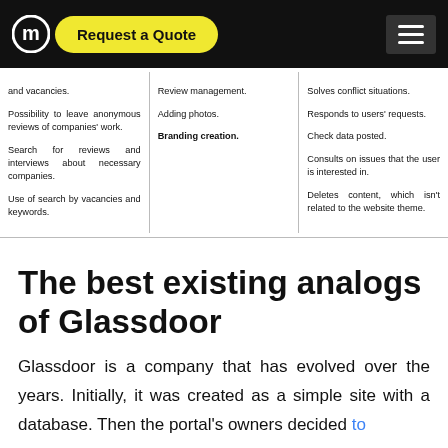Request a Quote
and vacancies.
Possibility to leave anonymous reviews of companies' work.
Search for reviews and interviews about necessary companies.
Use of search by vacancies and keywords.
Review management.
Adding photos.
Branding creation.
Solves conflict situations.
Responds to users' requests.
Check data posted.
Consults on issues that the user is interested in.
Deletes content, which isn't related to the website theme.
The best existing analogs of Glassdoor
Glassdoor is a company that has evolved over the years. Initially, it was created as a simple site with a database. Then the portal's owners decided to